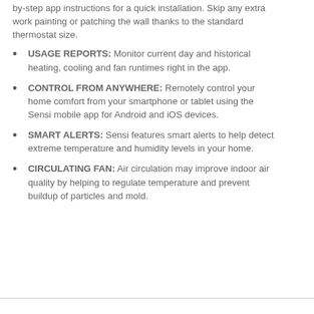by-step app instructions for a quick installation. Skip any extra work painting or patching the wall thanks to the standard thermostat size.
USAGE REPORTS: Monitor current day and historical heating, cooling and fan runtimes right in the app.
CONTROL FROM ANYWHERE: Remotely control your home comfort from your smartphone or tablet using the Sensi mobile app for Android and iOS devices.
SMART ALERTS: Sensi features smart alerts to help detect extreme temperature and humidity levels in your home.
CIRCULATING FAN: Air circulation may improve indoor air quality by helping to regulate temperature and prevent buildup of particles and mold.